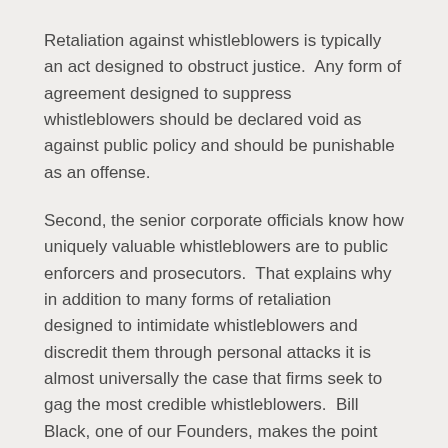Retaliation against whistleblowers is typically an act designed to obstruct justice.  Any form of agreement designed to suppress whistleblowers should be declared void as against public policy and should be punishable as an offense.
Second, the senior corporate officials know how uniquely valuable whistleblowers are to public enforcers and prosecutors.  That explains why in addition to many forms of retaliation designed to intimidate whistleblowers and discredit them through personal attacks it is almost universally the case that firms seek to gag the most credible whistleblowers.  Bill Black, one of our Founders, makes the point that during the savings and loan debacle there was not a single whistleblower who even approached the level and quality of Richard Bowen and Michael Winston.  Whistleblowers of their quality remain